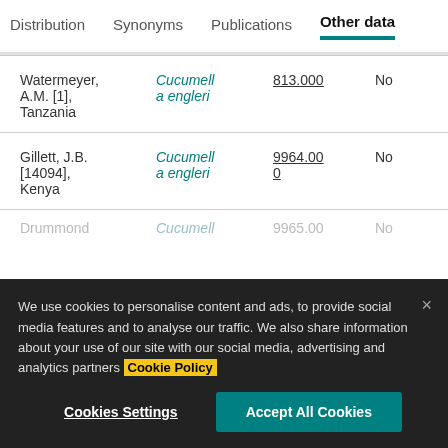Distribution | Synonyms | Publications | Other data
| Collector | Species | Number |  |
| --- | --- | --- | --- |
| Watermeyer, A.M. [1], Tanzania | Cucumella engleri | 813.000 | No |
| Gillett, J.B. [14094], Kenya | Cucumella engleri | 9964.000 | No |
| Drummond | Cucumell | 9965.00 | No |
We use cookies to personalise content and ads, to provide social media features and to analyse our traffic. We also share information about your use of our site with our social media, advertising and analytics partners Cookie Policy
Cookies Settings
Accept All Cookies